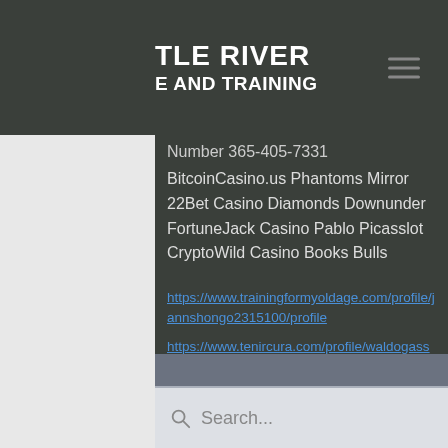TLE RIVER E AND TRAINING
Fruitburst · 402.8 dog
an · 6.3 btc
Number 365-405-7331
BitcoinCasino.us Phantoms Mirror
22Bet Casino Diamonds Downunder
FortuneJack Casino Pablo Picasslot
CryptoWild Casino Books Bulls
https://www.trainingformyoldage.com/profile/jannshongo2315100/profile
https://www.tenircura.com/profile/waldogassert16695858/profile
https://www.playlistentertainmentbahrain.com/profile/tequilabale13311335/profile
https://www.firsttuesdaynashville.com/profile/sabinecockrill13180157/profile
Search...